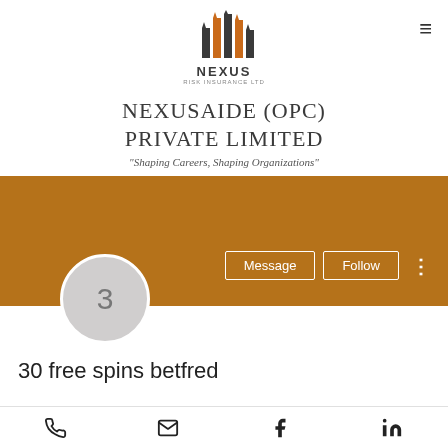[Figure (logo): Nexus logo with stylized orange and dark grey bar chart icon above the text NEXUS]
NEXUSAIDE (OPC) PRIVATE LIMITED
"Shaping Careers, Shaping Organizations"
[Figure (screenshot): LinkedIn-style company profile page section with brown/orange banner, grey profile circle with number 3, Message and Follow buttons, three-dot menu]
30 free spins betfred
Phone, Email, Facebook, LinkedIn icons footer bar